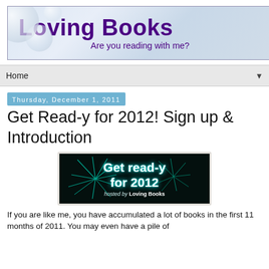[Figure (logo): Loving Books blog header banner with pale blue bokeh background, large purple bold title 'Loving Books' and subtitle 'Are you reading with me?' in purple]
Home ▼
Thursday, December 1, 2011
Get Read-y for 2012! Sign up & Introduction
[Figure (illustration): Dark banner image with teal fireworks, white bold text 'Get read-y for 2012', italic text 'hosted by Loving Books' at bottom right]
If you are like me, you have accumulated a lot of books in the first 11 months of 2011. You may even have a pile of